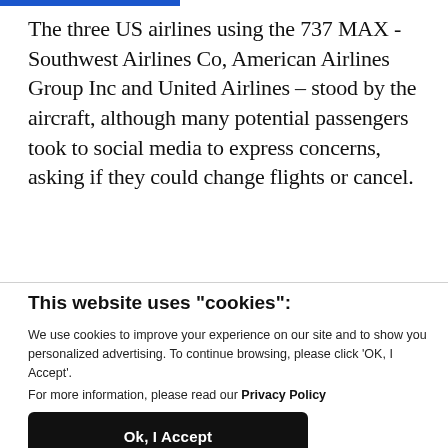The three US airlines using the 737 MAX - Southwest Airlines Co, American Airlines Group Inc and United Airlines – stood by the aircraft, although many potential passengers took to social media to express concerns, asking if they could change flights or cancel.
This website uses "cookies":
We use cookies to improve your experience on our site and to show you personalized advertising. To continue browsing, please click 'OK, I Accept'.
For more information, please read our Privacy Policy
Ok, I Accept